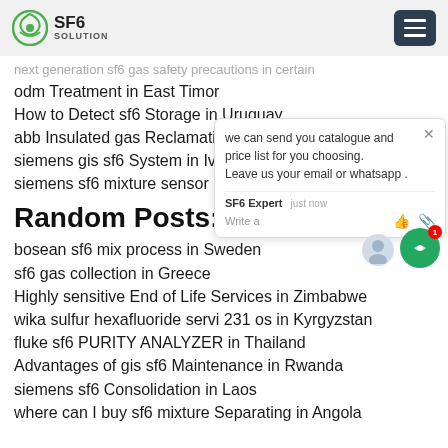SF6 SOLUTION
next generation sf6 gas safety precautions in certain
odm Treatment in East Timor
How to Detect sf6 Storage in Uruguay
abb Insulated gas Reclamation in Benin
siemens gis sf6 System in Ivory Coast
siemens sf6 mixture sensor in Uruguay
Random Posts:
bosean sf6 mix process in Sweden
sf6 gas collection in Greece
Highly sensitive End of Life Services in Zimbabwe
wika sulfur hexafluoride servi 231 os in Kyrgyzstan
fluke sf6 PURITY ANALYZER in Thailand
Advantages of gis sf6 Maintenance in Rwanda
siemens sf6 Consolidation in Laos
where can I buy sf6 mixture Separating in Angola